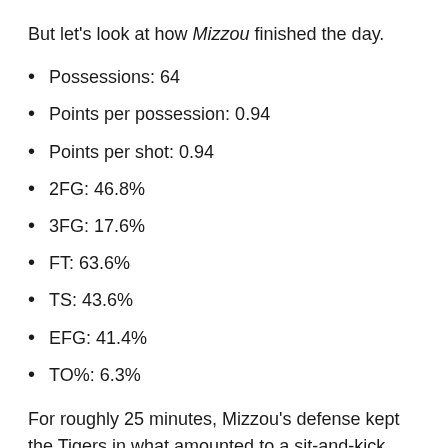But let's look at how Mizzou finished the day.
Possessions: 64
Points per possession: 0.94
Points per shot: 0.94
2FG: 46.8%
3FG: 17.6%
FT: 63.6%
TS: 43.6%
EFG: 41.4%
TO%: 6.3%
For roughly 25 minutes, Mizzou's defense kept the Tigers in what amounted to a sit-and-kick race. Cuonzo